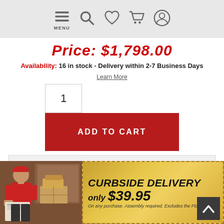[Figure (screenshot): Website navigation bar with MENU (hamburger icon), search (magnifying glass), heart/wishlist, shopping cart, and user account icons]
Price: $1,798.00
Availability: 16 in stock - Delivery within 2-7 Business Days
Learn More
[Figure (screenshot): Quantity input box showing 1, and red ADD TO CART button]
ASK ABOUT THIS PRODUCT
[Figure (infographic): Curbside delivery banner: photo of delivery man in red shirt with boxes, and golden banner text reading CURBSIDE DELIVERY only $39.95, On any purchase. Assembly required. Excludes the Florida K...]